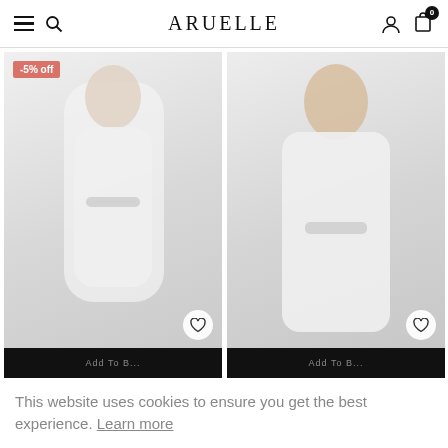ARUELLE — navigation header with hamburger menu, search, logo, user icon, cart (0)
[Figure (photo): Woman wearing a white short bathrobe, posing against a white wall background. Red discount badge showing -5% off. Heart/wishlist icon at bottom right. Add to Bag bar at bottom.]
[Figure (photo): Man wearing a white bathrobe, posing against a neutral background. Heart/wishlist icon at bottom right. Add to Bag bar at bottom.]
This website uses cookies to ensure you get the best experience. Learn more
Ok, got it